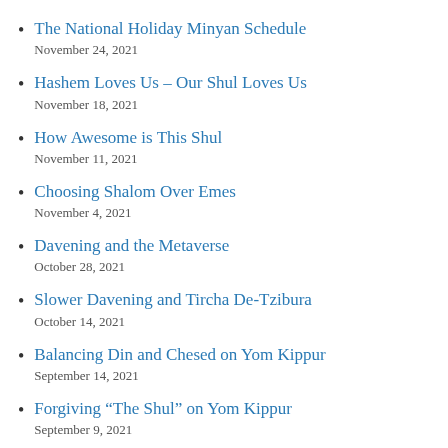The National Holiday Minyan Schedule
November 24, 2021
Hashem Loves Us – Our Shul Loves Us
November 18, 2021
How Awesome is This Shul
November 11, 2021
Choosing Shalom Over Emes
November 4, 2021
Davening and the Metaverse
October 28, 2021
Slower Davening and Tircha De-Tzibura
October 14, 2021
Balancing Din and Chesed on Yom Kippur
September 14, 2021
Forgiving “The Shul” on Yom Kippur
September 9, 2021